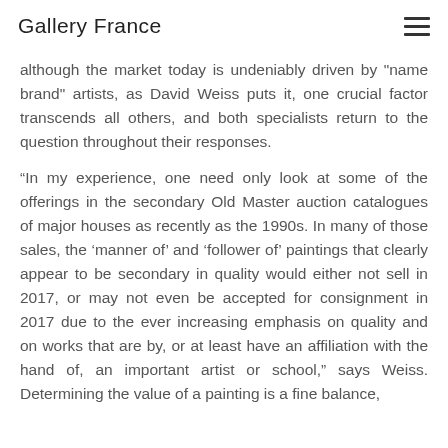Gallery France
although the market today is undeniably driven by "name brand" artists, as David Weiss puts it, one crucial factor transcends all others, and both specialists return to the question throughout their responses.
“In my experience, one need only look at some of the offerings in the secondary Old Master auction catalogues of major houses as recently as the 1990s. In many of those sales, the ‘manner of’ and ‘follower of’ paintings that clearly appear to be secondary in quality would either not sell in 2017, or may not even be accepted for consignment in 2017 due to the ever increasing emphasis on quality and on works that are by, or at least have an affiliation with the hand of, an important artist or school,” says Weiss. Determining the value of a painting is a fine balance,